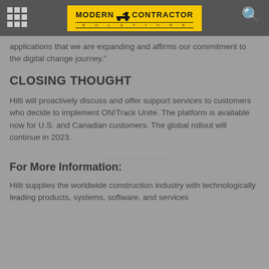Modern Contractor Solutions
applications that we are expanding and affirms our commitment to the digital change journey."
CLOSING THOUGHT
Hilti will proactively discuss and offer support services to customers who decide to implement ON!Track Unite. The platform is available now for U.S. and Canadian customers. The global rollout will continue in 2023.
For More Information:
Hilti supplies the worldwide construction industry with technologically leading products, systems, software, and services